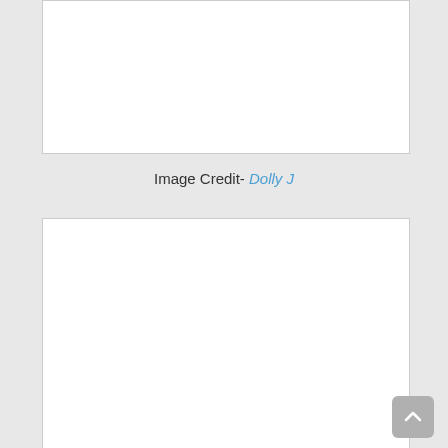[Figure (photo): White rectangular image placeholder box at top of page]
Image Credit- Dolly J
[Figure (photo): White rectangular image placeholder box at bottom of page]